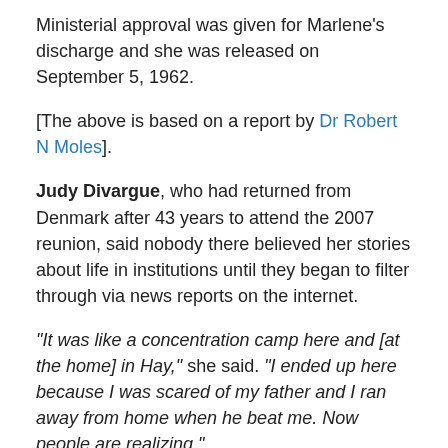Ministerial approval was given for Marlene's discharge and she was released on September 5, 1962.
[The above is based on a report by Dr Robert N Moles].
Judy Divargue, who had returned from Denmark after 43 years to attend the 2007 reunion, said nobody there believed her stories about life in institutions until they began to filter through via news reports on the internet.
“It was like a concentration camp here and [at the home] in Hay,” she said. “I ended up here because I was scared of my father and I ran away from home when he beat me. Now people are realizing.”
Julie Todd and Norma Organ suffered physical and emotional abuse at the hands of authorities at Parramatta